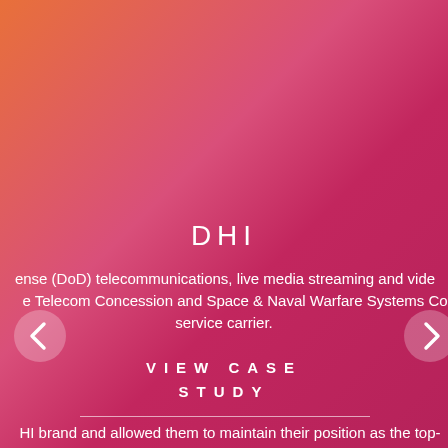DHI
ense (DoD) telecommunications, live media streaming and vide e Telecom Concession and Space & Naval Warfare Systems Co service carrier.
VIEW CASE STUDY
HI brand and allowed them to maintain their position as the top-